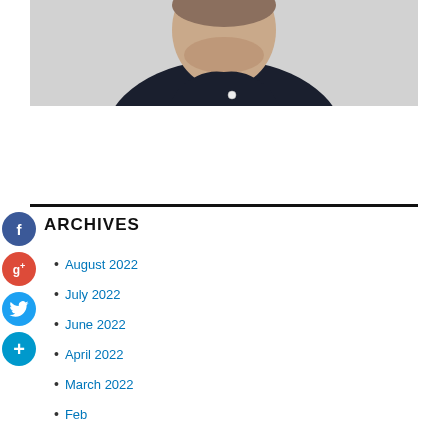[Figure (photo): Portrait photo of a man wearing a dark navy/black shirt, photographed from shoulders up against a light grey background]
ARCHIVES
August 2022
July 2022
June 2022
April 2022
March 2022